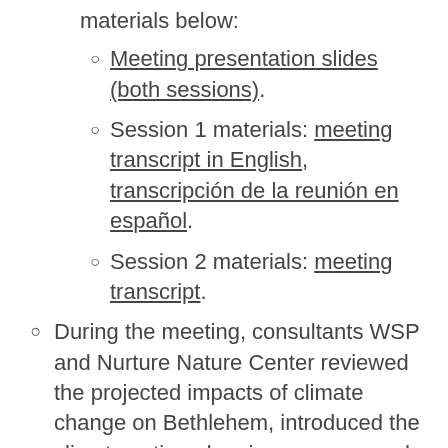materials below:
Meeting presentation slides (both sessions).
Session 1 materials: meeting transcript in English, transcripción de la reunión en español.
Session 2 materials: meeting transcript.
During the meeting, consultants WSP and Nurture Nature Center reviewed the projected impacts of climate change on Bethlehem, introduced the climate action planning process, and provided information about actions the City has already taken to address climate change.